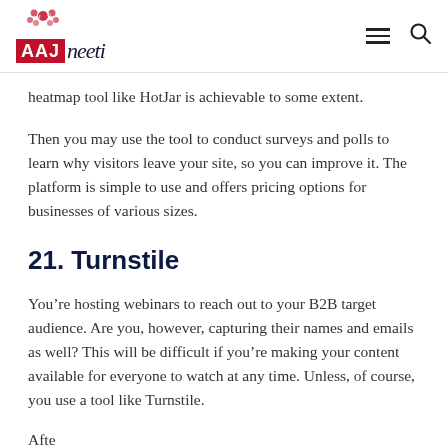AAJ neeti (logo with navigation hamburger and search icons)
heatmap tool like HotJar is achievable to some extent.
Then you may use the tool to conduct surveys and polls to learn why visitors leave your site, so you can improve it. The platform is simple to use and offers pricing options for businesses of various sizes.
21. Turnstile
You’re hosting webinars to reach out to your B2B target audience. Are you, however, capturing their names and emails as well? This will be difficult if you’re making your content available for everyone to watch at any time. Unless, of course, you use a tool like Turnstile.
Afte...